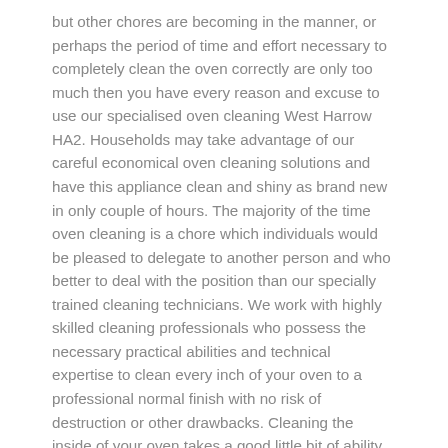but other chores are becoming in the manner, or perhaps the period of time and effort necessary to completely clean the oven correctly are only too much then you have every reason and excuse to use our specialised oven cleaning West Harrow HA2. Households may take advantage of our careful economical oven cleaning solutions and have this appliance clean and shiny as brand new in only couple of hours. The majority of the time oven cleaning is a chore which individuals would be pleased to delegate to another person and who better to deal with the position than our specially trained cleaning technicians. We work with highly skilled cleaning professionals who possess the necessary practical abilities and technical expertise to clean every inch of your oven to a professional normal finish with no risk of destruction or other drawbacks. Cleaning the inside of your oven takes a good little bit of ability and patience too as some oven models are packed with difficult to reach nooks and crannies that are notorious for accumulating grease depositions and burnt-on deposit. Again this is no issue for our careful and highly efficient cleansers who will take the time and effort separately, disassemble all removable parts and to scrub the oven properly clean them, including the door, the thermo immune glass along with the oven stands in. In regards to specialised oven cleaning West Harrow HA2 residents may be rest assured that we understand what we're doing and